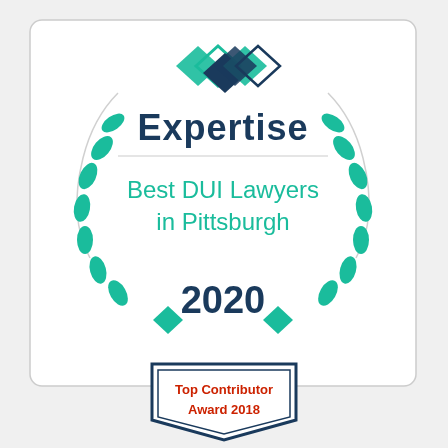[Figure (logo): Expertise award badge: white rounded rectangle with teal laurel wreath, Expertise logo with diamond shapes at top, text 'Best DUI Lawyers in Pittsburgh 2020']
[Figure (logo): Top Contributor Award 2018 badge: pentagon/shield shape with blue border, red text 'Top Contributor Award 2018']